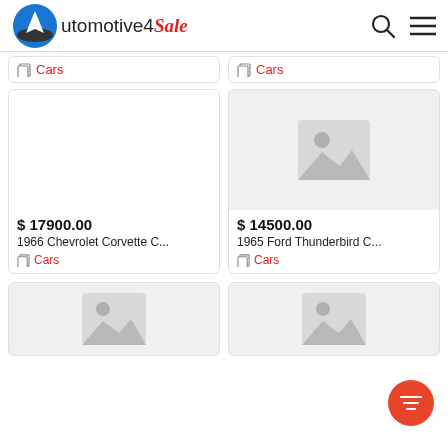Automotive4Sale
Cars (top-left partial)
Cars (top-right partial)
[Figure (photo): Car listing image placeholder - white/blank]
$ 17900.00
1966 Chevrolet Corvette C...
Cars
[Figure (photo): Car listing image placeholder - grey with image icon]
$ 14500.00
1965 Ford Thunderbird C...
Cars
[Figure (photo): Car listing image placeholder bottom-left - grey with image icon]
[Figure (photo): Car listing image placeholder bottom-right - grey with image icon]